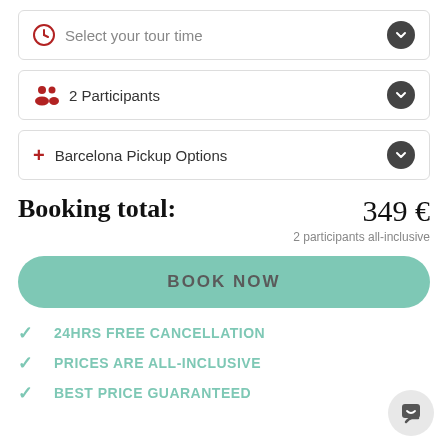Select your tour time
2 Participants
Barcelona Pickup Options
Booking total: 349 €
2 participants all-inclusive
BOOK NOW
24HRS FREE CANCELLATION
PRICES ARE ALL-INCLUSIVE
BEST PRICE GUARANTEED